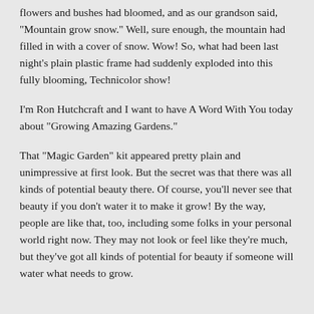flowers and bushes had bloomed, and as our grandson said, "Mountain grow snow." Well, sure enough, the mountain had filled in with a cover of snow. Wow! So, what had been last night's plain plastic frame had suddenly exploded into this fully blooming, Technicolor show!
I'm Ron Hutchcraft and I want to have A Word With You today about "Growing Amazing Gardens."
That "Magic Garden" kit appeared pretty plain and unimpressive at first look. But the secret was that there was all kinds of potential beauty there. Of course, you'll never see that beauty if you don't water it to make it grow! By the way, people are like that, too, including some folks in your personal world right now. They may not look or feel like they're much, but they've got all kinds of potential for beauty if someone will water what needs to grow.